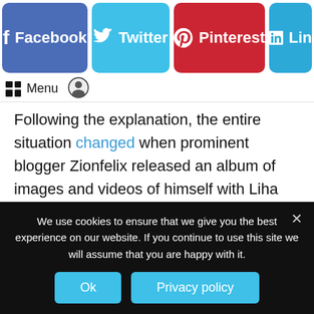[Figure (other): Social media sharing buttons: Facebook (blue), Twitter (light blue), Pinterest (red), LinkedIn (partially visible, light blue)]
Menu [grid icon] [user icon]
Following the explanation, the entire situation changed when prominent blogger Zionfelix released an album of images and videos of himself with Liha Miller before to their interview.
We use cookies to ensure that we give you the best experience on our website. If you continue to use this site we will assume that you are happy with it.